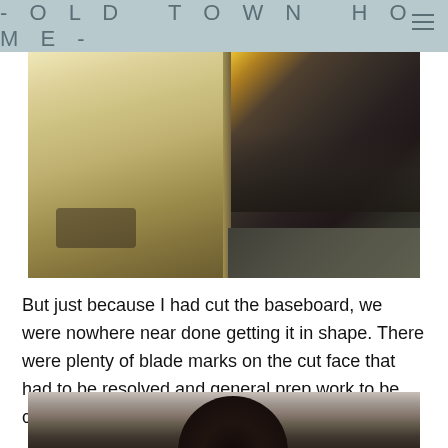- OLD TOWN HOME -
[Figure (photo): Close-up photo of a cut piece of wood baseboard on a table saw, showing the cut face and saw table surface. A yellow object is visible in the upper right corner.]
But just because I had cut the baseboard, we were nowhere near done getting it in shape. There were plenty of blade marks on the cut face that had to be resolved and general prep work to be completed.
[Figure (photo): Partial photo showing a dark rounded object (possibly a sander or tool) against a light textured surface, cropped at the bottom of the page.]